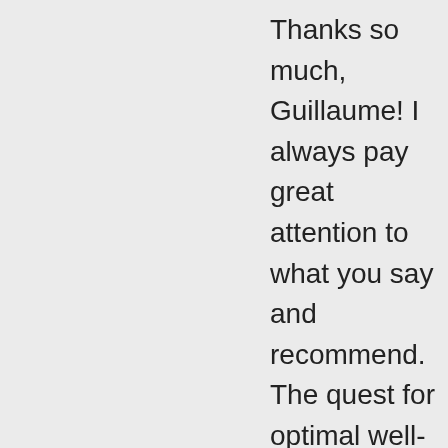Thanks so much, Guillaume! I always pay great attention to what you say and recommend. The quest for optimal well-being is an ongoing concern, time-consuming and expensive (all that organic ghee and produce, pasture eggs, vitamins, etc.) but what else could be more important and rewarding?! It'll be interesting indeed to compare results a year later from when I started. As soon as I do my next blood test, I'll report back for sure! Thanks again & please keep the posts coming!
Toni